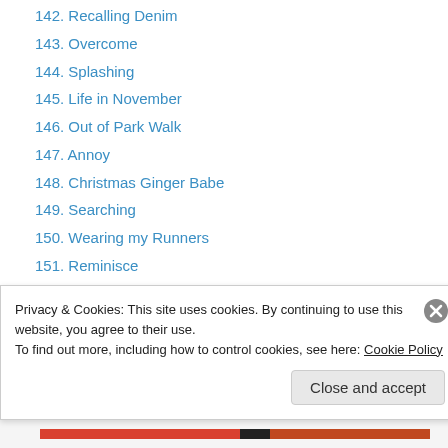142. Recalling Denim
143. Overcome
144. Splashing
145. Life in November
146. Out of Park Walk
147. Annoy
148. Christmas Ginger Babe
149. Searching
150. Wearing my Runners
151. Reminisce
152. Hiding an Easter Basket
153. Relocating
154. Letter Writing
155. [partially visible]
Privacy & Cookies: This site uses cookies. By continuing to use this website, you agree to their use. To find out more, including how to control cookies, see here: Cookie Policy
Close and accept